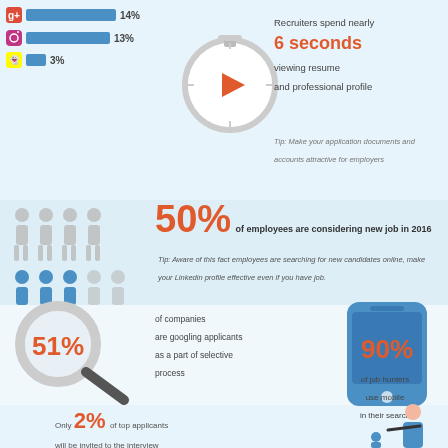[Figure (bar-chart): Social media usage by recruiters (partial)]
Recruiters spend nearly 6 seconds viewing resume and professional profile
Tip: Make your application documents and accounts attractive for employers
[Figure (infographic): People figures showing 50% in blue and 50% in grey; 50% of employees are considering new job in 2016]
Tip: Aware of this fact employees are searching for new candidates online, make your Linkedin profile effective even if you have job.
[Figure (infographic): Magnifying glass icon with 51% text; 51% of companies are googling applicants as a part of selective process]
[Figure (infographic): Mobile phone icon with 90% text; 90% of job hunters use mobile in their search]
Only 2% of top applicants will be invited to the interview